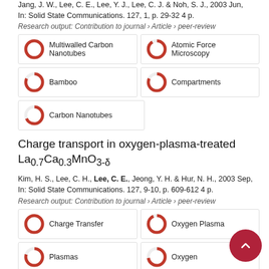Jang, J. W., Lee, C. E., Lee, Y. J., Lee, C. J. & Noh, S. J., 2003 Jun, In: Solid State Communications. 127, 1, p. 29-32 4 p.
Research output: Contribution to journal › Article › peer-review
Multiwalled Carbon Nanotubes
Atomic Force Microscopy
Bamboo
Compartments
Carbon Nanotubes
Charge transport in oxygen-plasma-treated La0.7Ca0.3MnO3-δ
Kim, H. S., Lee, C. H., Lee, C. E., Jeong, Y. H. & Hur, N. H., 2003 Sep, In: Solid State Communications. 127, 9-10, p. 609-612 4 p.
Research output: Contribution to journal › Article › peer-review
Charge Transfer
Oxygen Plasma
Plasmas
Oxygen
Charge Transfer